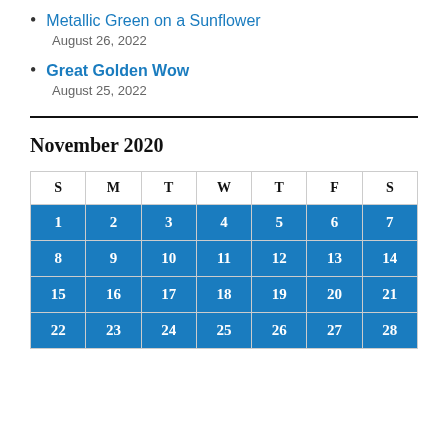Metallic Green on a Sunflower
August 26, 2022
Great Golden Wow
August 25, 2022
November 2020
| S | M | T | W | T | F | S |
| --- | --- | --- | --- | --- | --- | --- |
| 1 | 2 | 3 | 4 | 5 | 6 | 7 |
| 8 | 9 | 10 | 11 | 12 | 13 | 14 |
| 15 | 16 | 17 | 18 | 19 | 20 | 21 |
| 22 | 23 | 24 | 25 | 26 | 27 | 28 |